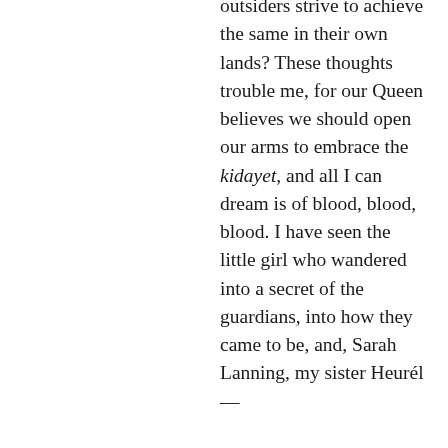outsiders strive to achieve the same in their own lands? These thoughts trouble me, for our Queen believes we should open our arms to embrace the kidayet, and all I can dream is of blood, blood, blood. I have seen the little girl who wandered into a secret of the guardians, into how they came to be, and, Sarah Lanning, my sister Heurél—

They could not save her.

I do not believe in the eshrai, that they are gods, but I believe in the rothnen, that they are guardians, and there is little too far beyond them to accomplish. They could be what at last...